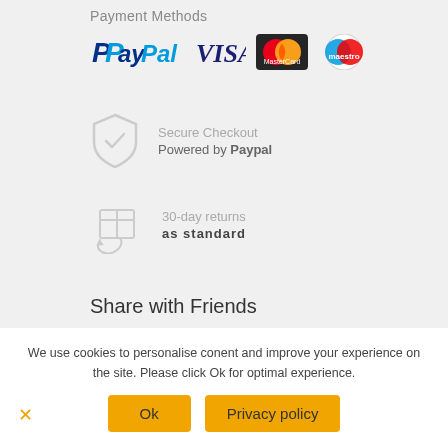Payment Methods
[Figure (logo): Payment method logos: PayPal, VISA, MasterCard, Maestro]
Secure Checkout
Powered by Paypal
30-day returns
as standard
Share with Friends
[Figure (illustration): Social media icons: Facebook, Twitter, LinkedIn]
We use cookies to personalise conent and improve your experience on the site. Please click Ok for optimal experience.